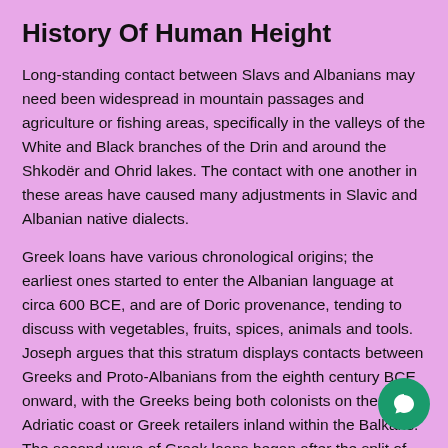History Of Human Height
Long-standing contact between Slavs and Albanians may need been widespread in mountain passages and agriculture or fishing areas, specifically in the valleys of the White and Black branches of the Drin and around the Shkodër and Ohrid lakes. The contact with one another in these areas have caused many adjustments in Slavic and Albanian native dialects.
Greek loans have various chronological origins; the earliest ones started to enter the Albanian language at circa 600 BCE, and are of Doric provenance, tending to discuss with vegetables, fruits, spices, animals and tools. Joseph argues that this stratum displays contacts between Greeks and Proto-Albanians from the eighth century BCE onward, with the Greeks being both colonists on the Adriatic coast or Greek retailers inland within the Balkans. The second wave of Greek loans began after the split of the Roman empire in 395 and continued all through the Byzantine, Ottoman and modern periods. On 23 March 2023 Vladimir Putin shared...